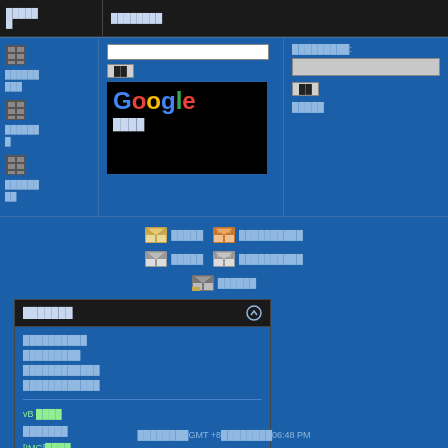████████ █
[Figure (screenshot): Forum/portal page with search bar, Google logo in black box, sidebar icons, right column with input, mail icons section, and a vBulletin-style panel]
██████████ █████████ ██████████████ ██████████
vB ████ ██████ [IMG]████ HTML████
████████GMT +8████████06:48 PM